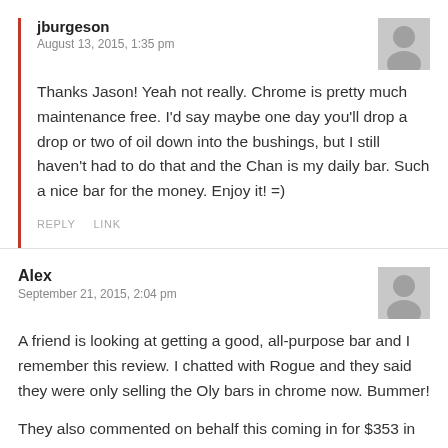jburgeson
August 13, 2015, 1:35 pm
Thanks Jason! Yeah not really. Chrome is pretty much maintenance free. I'd say maybe one day you'll drop a drop or two of oil down into the bushings, but I still haven't had to do that and the Chan is my daily bar. Such a nice bar for the money. Enjoy it! =)
REPLY   LINK
Alex
September 21, 2015, 2:04 pm
A friend is looking at getting a good, all-purpose bar and I remember this review. I chatted with Rogue and they said they were only selling the Oly bars in chrome now. Bummer!
They also commented on behalf this coming in for $353 in the chrome...